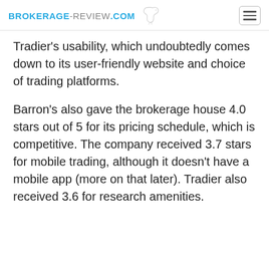BROKERAGE-REVIEW.COM
Tradier's usability, which undoubtedly comes down to its user-friendly website and choice of trading platforms.
Barron's also gave the brokerage house 4.0 stars out of 5 for its pricing schedule, which is competitive. The company received 3.7 stars for mobile trading, although it doesn't have a mobile app (more on that later). Tradier also received 3.6 for research amenities.